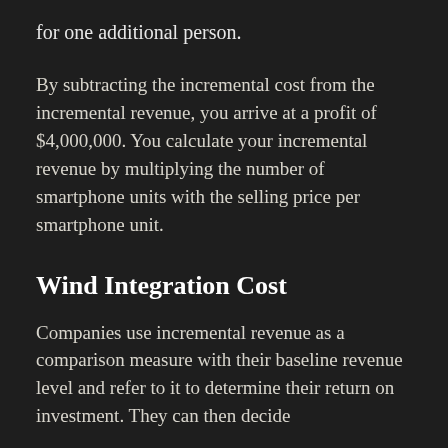for one additional person.
By subtracting the incremental cost from the incremental revenue, you arrive at a profit of $4,000,000. You calculate your incremental revenue by multiplying the number of smartphone units with the selling price per smartphone unit.
Wind Integration Cost
Companies use incremental revenue as a comparison measure with their baseline revenue level and refer to it to determine their return on investment. They can then decide